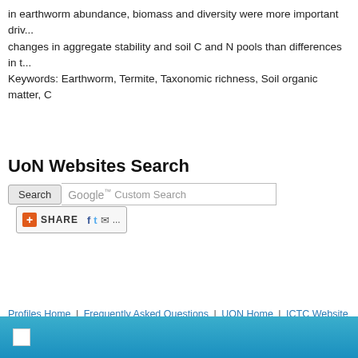in earthworm abundance, biomass and diversity were more important driv... changes in aggregate stability and soil C and N pools than differences in t... Keywords: Earthworm, Termite, Taxonomic richness, Soil organic matter, C
[Figure (screenshot): Share button bar with Facebook, Twitter, email icons and a +SHARE label]
UoN Websites Search
[Figure (screenshot): Search button and Google Custom Search input field]
[Figure (screenshot): Login button]
Profiles Home | Frequently Asked Questions | UON Home | ICTC Website
University of Nairobi A world-class university committed to scholarly exce...
Powered by OpenScholar
[Figure (screenshot): Blue footer bar with small logo image]